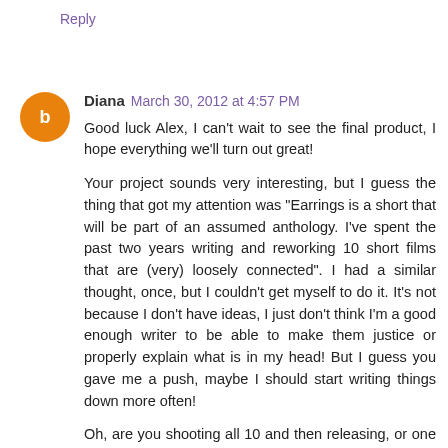Reply
Diana March 30, 2012 at 4:57 PM
Good luck Alex, I can't wait to see the final product, I hope everything we'll turn out great!

Your project sounds very interesting, but I guess the thing that got my attention was "Earrings is a short that will be part of an assumed anthology. I've spent the past two years writing and reworking 10 short films that are (very) loosely connected". I had a similar thought, once, but I couldn't get myself to do it. It's not because I don't have ideas, I just don't think I'm a good enough writer to be able to make them justice or properly explain what is in my head! But I guess you gave me a push, maybe I should start writing things down more often!

Oh, are you shooting all 10 and then releasing, or one by one?